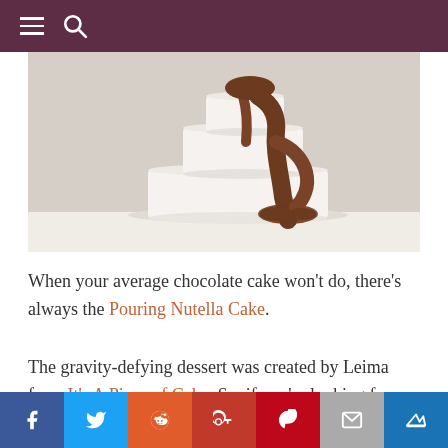Navigation header with hamburger menu and search icon
[Figure (photo): A white tiered wedding cake with chocolate Nutella being poured over it, dripping down the sides, on a white surface against a light gray background.]
When your average chocolate cake won't do, there's always the Pouring Nutella Cake.
The gravity-defying dessert was created by Leima from It's A Piece of Cake. So, if you're looking for a very chocolately way to celebrate, the tutorial can be
Social share bar: Facebook, Twitter, Reddit, Google+, Pinterest, Email, Crown